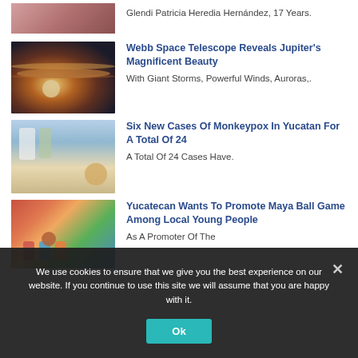Glendi Patricia Heredia Hernández, 17 Years.
[Figure (photo): Portrait photo of a young woman (partial, cropped at top)]
Webb Space Telescope Reveals Jupiter's Magnificent Beauty
With Giant Storms, Powerful Winds, Auroras,.
[Figure (photo): Image of Jupiter captured by Webb Space Telescope]
Six New Cases Of Monkeypox In Yucatan For A Total Of 24
A Total Of 24 Cases Have.
[Figure (photo): Street scene with people walking, monkeypox related]
Yucatecan Wants To Promote Maya Ball Game Among Local Young People
As A Promoter Of The
[Figure (photo): Children playing with a ball]
We use cookies to ensure that we give you the best experience on our website. If you continue to use this site we will assume that you are happy with it.